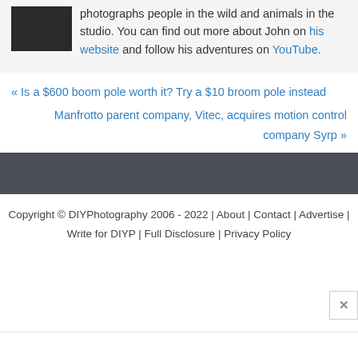photographs people in the wild and animals in the studio. You can find out more about John on his website and follow his adventures on YouTube.
« Is a $600 boom pole worth it? Try a $10 broom pole instead
Manfrotto parent company, Vitec, acquires motion control company Syrp »
Copyright © DIYPhotography 2006 - 2022 | About | Contact | Advertise | Write for DIYP | Full Disclosure | Privacy Policy